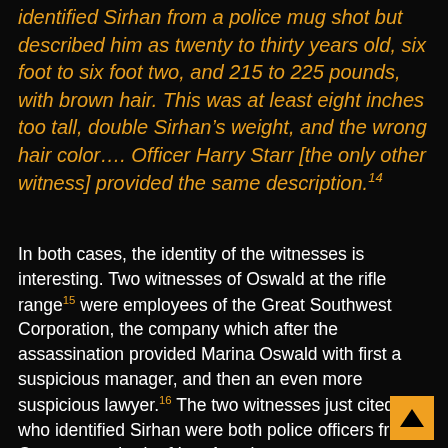identified Sirhan from a police mug shot but described him as twenty to thirty years old, six foot to six foot two, and 215 to 225 pounds, with brown hair. This was at least eight inches too tall, double Sirhan's weight, and the wrong hair color.... Officer Harry Starr [the only other witness] provided the same description.14
In both cases, the identity of the witnesses is interesting. Two witnesses of Oswald at the rifle range15 were employees of the Great Southwest Corporation, the company which after the assassination provided Marina Oswald with first a suspicious manager, and then an even more suspicious lawyer.16 The two witnesses just cited who identified Sirhan were both police officers from Corona, a suburb of Los Angeles.